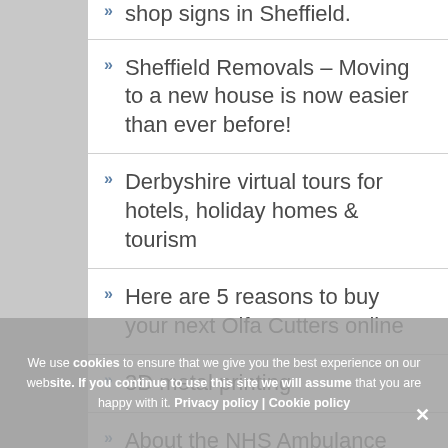shop signs in Sheffield.
Sheffield Removals – Moving to a new house is now easier than ever before!
Derbyshire virtual tours for hotels, holiday homes & tourism
Here are 5 reasons to buy your next Olfa Cutters online
3D metal printing
About the NHS Ambulance Service
Centrifugal casting equipment
Hiring a motorhome? Here are
We use cookies to ensure that we give you the best experience on our website. If you continue to use this site we will assume that you are happy with it. Privacy policy | Cookie policy